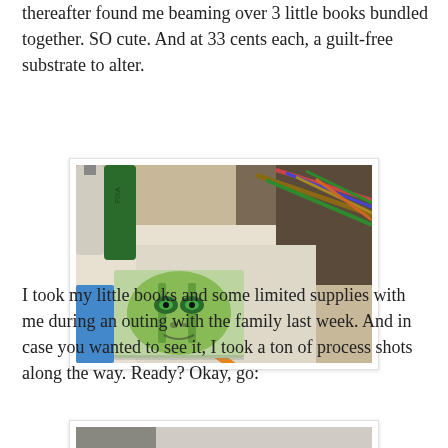thereafter found me beaming over 3 little books bundled together. SO cute. And at 33 cents each, a guilt-free substrate to alter.
[Figure (photo): A small altered book with a green face illustration on the cover, surrounded by art supplies including pencils, markers, and spray cans (including FIXA) on a table.]
I took my little books and some limited supplies with me during an outing with the family last week. And in case you wanted to see it, I took a ton of process shots along the way. Ready? Okay, go:
[Figure (photo): Bottom portion of another photo showing a partial image, cropped at the page edge.]